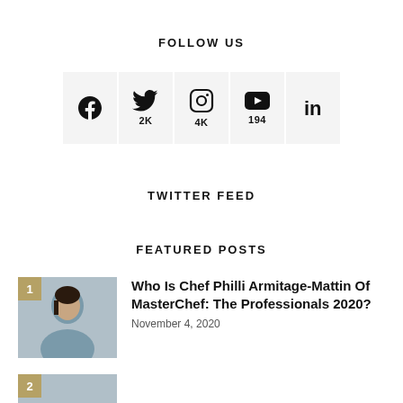FOLLOW US
[Figure (infographic): Social media icons row: Facebook (no count), Twitter (2K), Instagram (4K), YouTube (194), LinkedIn (no count)]
TWITTER FEED
FEATURED POSTS
Who Is Chef Philli Armitage-Mattin Of MasterChef: The Professionals 2020?
November 4, 2020